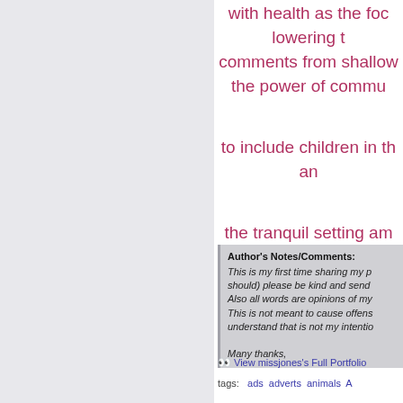with health as the foc... lowering t... comments from shallow... the power of commu...
to include children in th... an...
the tranquil setting am... stars, that'...
Author's Notes/Comments:
This is my first time sharing my p... should) please be kind and send ... Also all words are opinions of my... This is not meant to cause offens... understand that is not my intentio...

Many thanks,
View missjones's Full Portfolio
tags: ads adverts animals A...